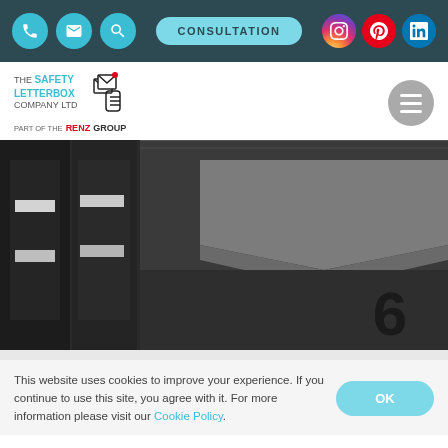Navigation bar with phone, email, search icons, CONSULTATION button, and Instagram, Pinterest, LinkedIn social icons
[Figure (logo): The Safety Letterbox Company Ltd logo with hand-and-letters icon, part of the RENZ GROUP]
[Figure (photo): Close-up photo of dark grey modern letterboxes/mailboxes with a number 6 visible on one unit]
This website uses cookies to improve your experience. If you continue to use this site, you agree with it. For more information please visit our Cookie Policy.